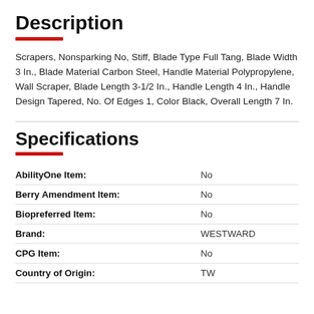Description
Scrapers, Nonsparking No, Stiff, Blade Type Full Tang, Blade Width 3 In., Blade Material Carbon Steel, Handle Material Polypropylene, Wall Scraper, Blade Length 3-1/2 In., Handle Length 4 In., Handle Design Tapered, No. Of Edges 1, Color Black, Overall Length 7 In.
Specifications
| Specification | Value |
| --- | --- |
| AbilityOne Item: | No |
| Berry Amendment Item: | No |
| Biopreferred Item: | No |
| Brand: | WESTWARD |
| CPG Item: | No |
| Country of Origin: | TW |